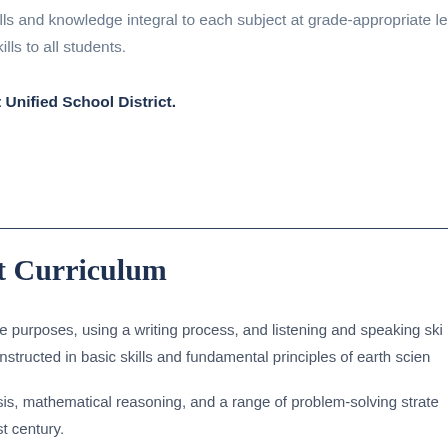ills and knowledge integral to each subject at grade-appropriate le skills to all students.
t Unified School District.
t Curriculum
le purposes, using a writing process, and listening and speaking ski instructed in basic skills and fundamental principles of earth scien
sis, mathematical reasoning, and a range of problem-solving strate st century.